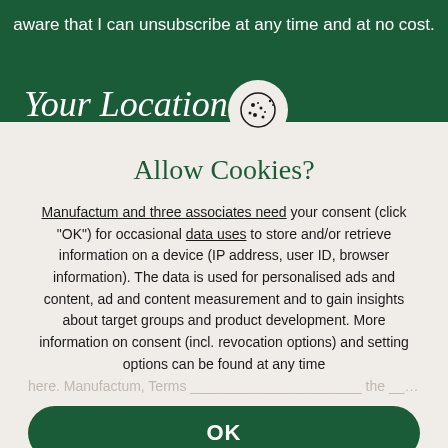aware that I can unsubscribe at any time and at no cost.
Your Location
Allow Cookies?
Manufactum and three associates need your consent (click "OK") for occasional data uses to store and/or retrieve information on a device (IP address, user ID, browser information). The data is used for personalised ads and content, ad and content measurement and to gain insights about target groups and product development. More information on consent (incl. revocation options) and setting options can be found at any time
OK
Reject Cookies
More information